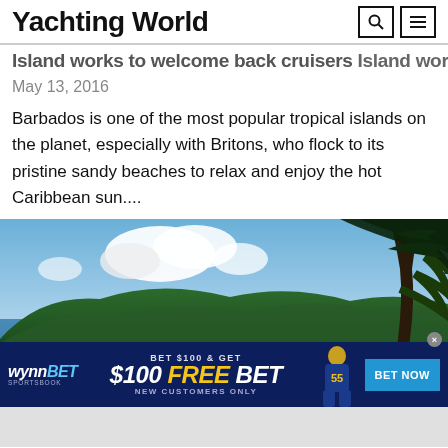Yachting World
Island works to welcome back cruisers
May 13, 2016
Barbados is one of the most popular tropical islands on the planet, especially with Britons, who flock to its pristine sandy beaches to relax and enjoy the hot Caribbean sun....
[Figure (photo): Aerial/elevated view of a tropical island coastline with blue sea, green hills, and tropical trees in the foreground against a partly cloudy sky. An advertisement banner for WynnBET Sportsbook overlays the bottom: 'BET $100 & GET $100 FREE BET NEW CUSTOMERS ONLY' with a 'BET NOW' button.]